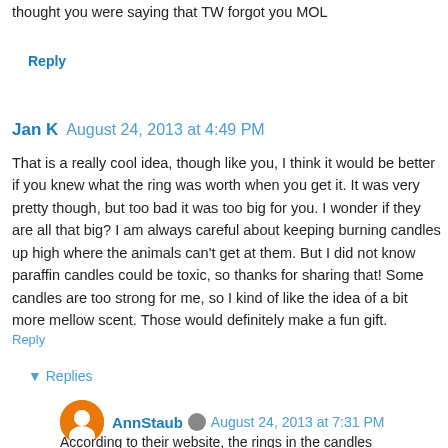thought you were saying that TW forgot you MOL
Reply
Jan K  August 24, 2013 at 4:49 PM
That is a really cool idea, though like you, I think it would be better if you knew what the ring was worth when you get it. It was very pretty though, but too bad it was too big for you. I wonder if they are all that big? I am always careful about keeping burning candles up high where the animals can't get at them. But I did not know paraffin candles could be toxic, so thanks for sharing that! Some candles are too strong for me, so I kind of like the idea of a bit more mellow scent. Those would definitely make a fun gift.
Reply
▾ Replies
AnnStaub  August 24, 2013 at 7:31 PM
According to their website, the rings in the candles